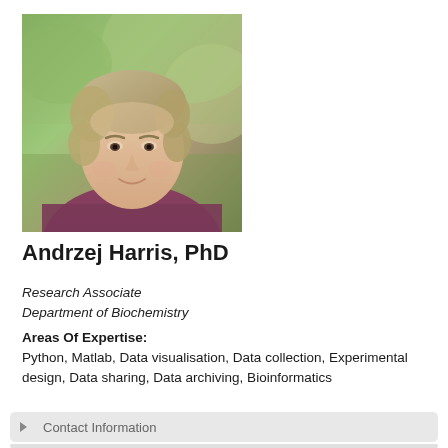[Figure (photo): Headshot photo of Andrzej Harris, a young man with light brown/blonde hair wearing a dark red/maroon sweater, photographed outdoors with green trees in the background.]
Andrzej Harris, PhD
Research Associate
Department of Biochemistry
Areas Of Expertise:
Python, Matlab, Data visualisation, Data collection, Experimental design, Data sharing, Data archiving, Bioinformatics
Contact Information